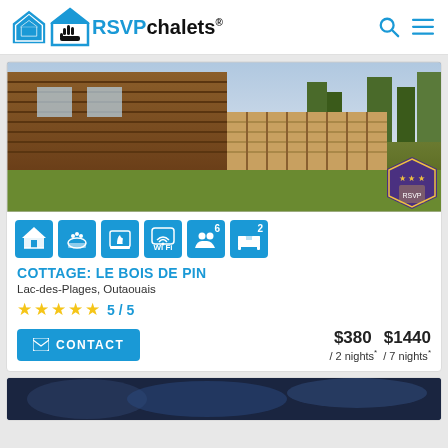RSVPchalets®
[Figure (photo): Exterior photo of a log cabin chalet with wooden facade, driveway, lawn area, and trees in background. A purple and gold badge/award seal is visible in the bottom right corner.]
[Figure (infographic): Six blue amenity icons: cottage/chalet, hot tub/jacuzzi, fireplace, WiFi, 6 guests, 2 bedrooms]
COTTAGE: LE BOIS DE PIN
Lac-des-Plages, Outaouais
★★★★★ 5/5
CONTACT | $380 / 2 nights* $1440 / 7 nights*